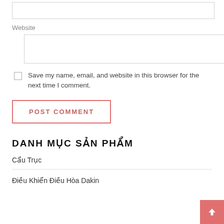Website
Save my name, email, and website in this browser for the next time I comment.
POST COMMENT
DANH MỤC SẢN PHẨM
Cẩu Trục
Điều Khiển Điều Hòa Dakin